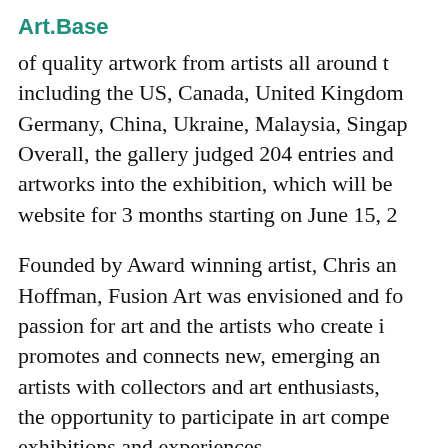Art.Base
of quality artwork from artists all around t including the US, Canada, United Kingdom Germany, China, Ukraine, Malaysia, Singap Overall, the gallery judged 204 entries and artworks into the exhibition, which will be website for 3 months starting on June 15, 2
Founded by Award winning artist, Chris an Hoffman, Fusion Art was envisioned and fo passion for art and the artists who create promotes and connects new, emerging an artists with collectors and art enthusiasts, the opportunity to participate in art compe exhibitions and experiences.
Each month and quarter Fusion Art hosts